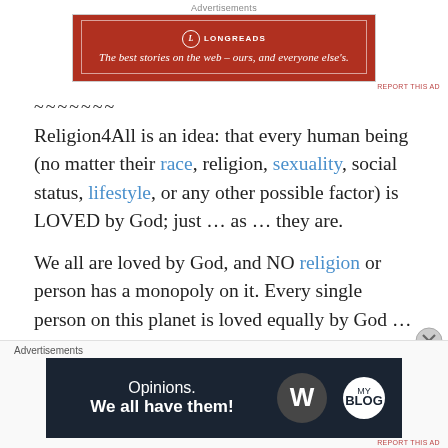Advertisements
[Figure (other): Longreads advertisement banner: red background with white border, Longreads logo and text 'The best stories on the web – ours, and everyone else's.']
~~~~~~~
Religion4All is an idea: that every human being (no matter their race, religion, sexuality, social status, lifestyle, or any other possible factor) is LOVED by God; just … as … they are.
We all are loved by God, and NO religion or person has a monopoly on it. Every single person on this planet is loved equally by God … SO many are cut off from God because they are told they don't belong. God loves everyone … we
Advertisements
[Figure (other): WordPress advertisement banner: dark navy background with 'Opinions. We all have them!' text and WordPress and other logos.]